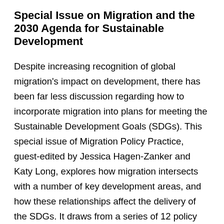Special Issue on Migration and the 2030 Agenda for Sustainable Development
Despite increasing recognition of global migration's impact on development, there has been far less discussion regarding how to incorporate migration into plans for meeting the Sustainable Development Goals (SDGs). This special issue of Migration Policy Practice, guest-edited by Jessica Hagen-Zanker and Katy Long, explores how migration intersects with a number of key development areas, and how these relationships affect the delivery of the SDGs. It draws from a series of 12 policy briefings by the Overseas Development Institute (ODI) that analyse the interrelationships between migration and key development areas, namely, poverty, decent work, urbanization, gender, education, health, social protection, water and